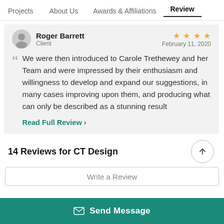Projects   About Us   Awards & Affiliations   Review
Roger Barrett
Client
February 11, 2020
★★★★
We were then introduced to Carole Trethewey and her Team and were impressed by their enthusiasm and willingness to develop and expand our suggestions, in many cases improving upon them, and producing what can only be described as a stunning result
Read Full Review >
14 Reviews for CT Design
Write a Review